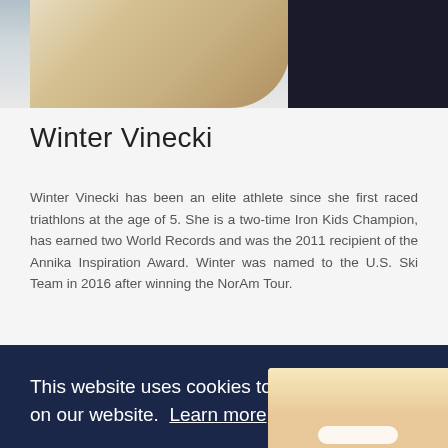[Figure (photo): Top portion of a photo showing a blonde woman wearing a dark jacket with a pink spider logo]
Winter Vinecki
Winter Vinecki has been an elite athlete since she first raced triathlons at the age of 5. She is a two-time Iron Kids Champion, has earned two World Records and was the 2011 recipient of the Annika Inspiration Award. Winter was named to the U.S. Ski Team in 2016 after winning the NorAm Tour.
This website uses cookies to ensure you get the best experience on our website. Learn more
Got it!
[Figure (photo): Bottom portion of a smiling woman's face]